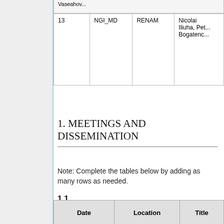|  | NGI_MD | RENAM |  |
| --- | --- | --- | --- |
| 13 | NGI_MD | RENAM | Vaseahov... Nicolai Iliuha, Pet... Bogatenc... |
1. MEETINGS AND DISSEMINATION
Note: Complete the tables below by adding as many rows as needed.
1.1. CONFERENCES/WORKSHOPS ORGANISED
| Date | Location | Title |
| --- | --- | --- |